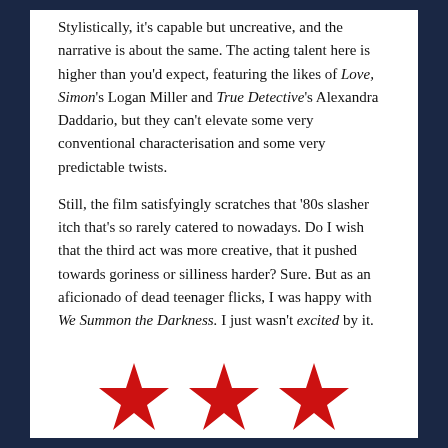Stylistically, it's capable but uncreative, and the narrative is about the same. The acting talent here is higher than you'd expect, featuring the likes of Love, Simon's Logan Miller and True Detective's Alexandra Daddario, but they can't elevate some very conventional characterisation and some very predictable twists.
Still, the film satisfyingly scratches that '80s slasher itch that's so rarely catered to nowadays. Do I wish that the third act was more creative, that it pushed towards goriness or silliness harder? Sure. But as an aficionado of dead teenager flicks, I was happy with We Summon the Darkness. I just wasn't excited by it.
[Figure (other): Three red five-pointed stars arranged horizontally, representing a 3-star rating.]